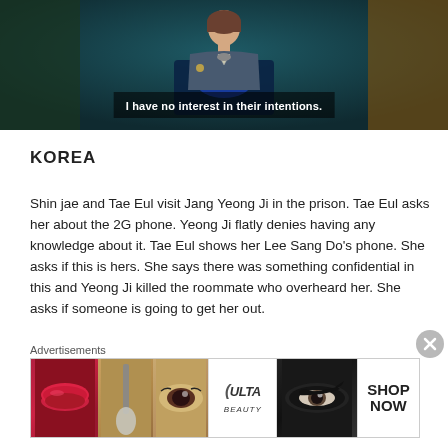[Figure (screenshot): Animated/illustrated scene showing a figure at a podium with Chinese/East Asian characters in the background and subtitle text reading 'I have no interest in their intentions.']
KOREA
Shin jae and Tae Eul visit Jang Yeong Ji in the prison. Tae Eul asks her about the 2G phone. Yeong Ji flatly denies having any knowledge about it. Tae Eul shows her Lee Sang Do's phone. She asks if this is hers. She says there was something confidential in this and Yeong Ji killed the roommate who overheard her. She asks if someone is going to get her out.
Advertisements
[Figure (photo): Ulta Beauty advertisement banner showing close-up images of lips, makeup brush, eye, Ulta logo, dramatic eye makeup, and Shop Now call to action]